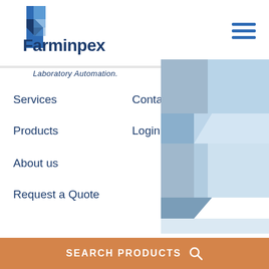[Figure (logo): Farminpex logo with blue F-shaped geometric icon and company name text]
[Figure (illustration): Hamburger menu icon (three horizontal blue lines) in the upper right corner]
Laboratory Automation.
Services
Contact
Products
Login
About us
Request a Quote
[Figure (illustration): Large decorative Farminpex F-shaped geometric logo in light blue/grey tones on the right side of the page]
SEARCH PRODUCTS